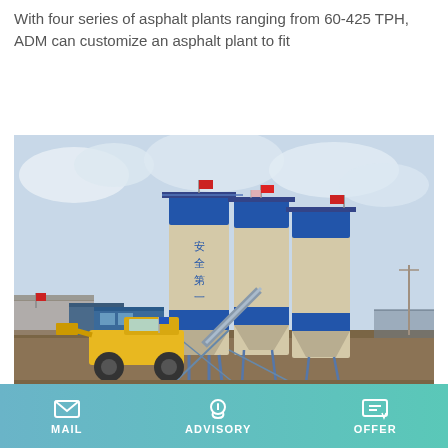With four series of asphalt plants ranging from 60-425 TPH, ADM can customize an asphalt plant to fit
Learn More
[Figure (photo): Industrial concrete/asphalt mixing plant with three tall blue and beige silos bearing Chinese characters, a yellow front-loader truck and various steel structures in an outdoor setting]
Adm Mobile Asphalt Plant
MAIL   ADVISORY   OFFER